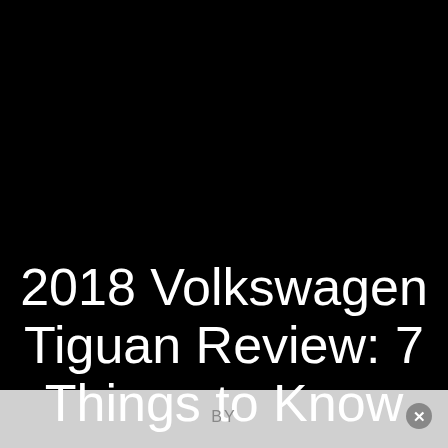[Figure (photo): Black background covering the upper portion of the page, forming the backdrop for a vehicle review article title card.]
2018 Volkswagen Tiguan Review: 7 Things to Know
VW's small SUV gets an America-centric redo from stem to stern.
BY